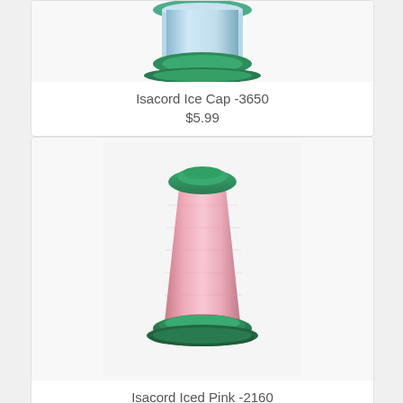[Figure (photo): Thread spool with blue/light thread and green top and bottom caps, partially cropped at top]
Isacord Ice Cap -3650
$5.99
[Figure (photo): Thread spool with pink thread and green top and bottom caps]
Isacord Iced Pink -2160
$5.99